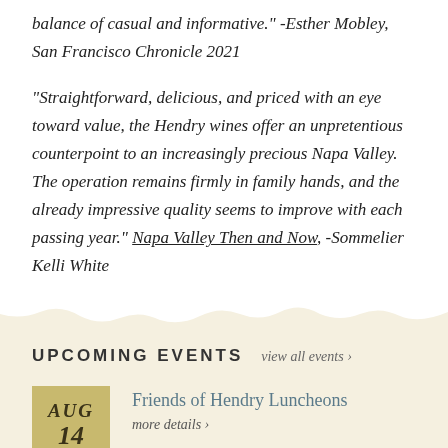balance of casual and informative." -Esther Mobley, San Francisco Chronicle 2021
"Straightforward, delicious, and priced with an eye toward value, the Hendry wines offer an unpretentious counterpoint to an increasingly precious Napa Valley. The operation remains firmly in family hands, and the already impressive quality seems to improve with each passing year." Napa Valley Then and Now, -Sommelier Kelli White
UPCOMING EVENTS   view all events ›
AUG 14
Friends of Hendry Luncheons
more details ›